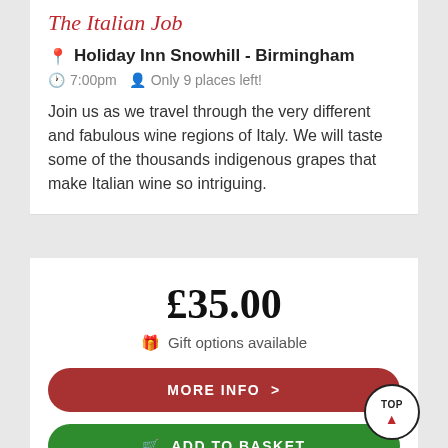The Italian Job
Holiday Inn Snowhill - Birmingham
7:00pm   Only 9 places left!
Join us as we travel through the very different and fabulous wine regions of Italy. We will taste some of the thousands indigenous grapes that make Italian wine so intriguing.
£35.00
Gift options available
MORE INFO >
ADD TO BASKET
TOP